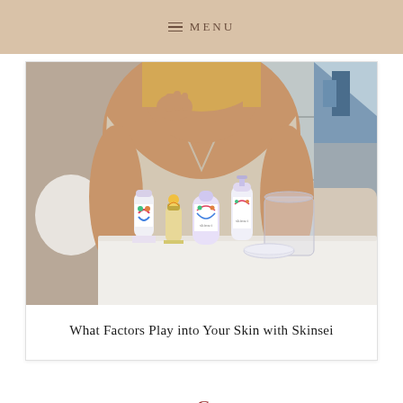MENU
[Figure (photo): A woman in a beige sleeveless top seated at a white table, touching her face. On the table are several Skinsei skincare products with colorful labels, a glass, and small containers.]
What Factors Play into Your Skin with Skinsei